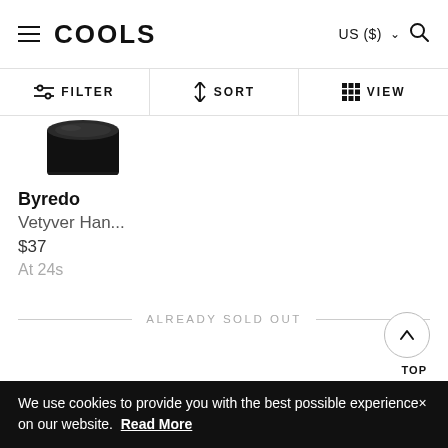COOLS  US ($)
FILTER  SORT  VIEW
[Figure (photo): Black cylindrical product (Byredo Vetyver Hand wash or similar) partially visible at top]
Byredo
Vetyver Han...
$37
At 24s
ALREADY SOLD OUT
TOP
We use cookies to provide you with the best possible experience× on our website.  Read More